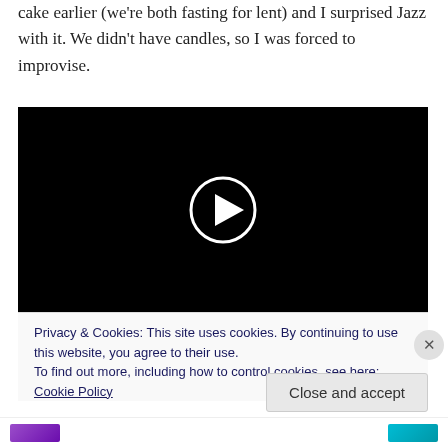cake earlier (we're both fasting for lent) and I surprised Jazz with it. We didn't have candles, so I was forced to improvise.
[Figure (other): Black video player with a white circular play button in the center]
Privacy & Cookies: This site uses cookies. By continuing to use this website, you agree to their use.
To find out more, including how to control cookies, see here: Cookie Policy
Close and accept